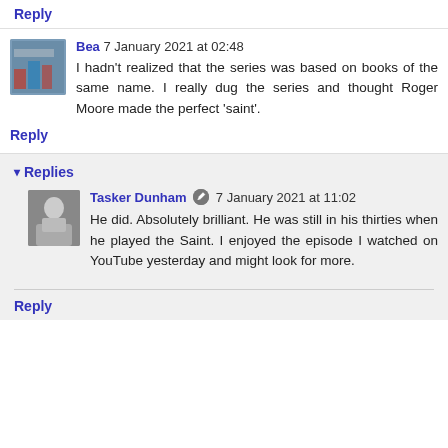Reply
Bea 7 January 2021 at 02:48
I hadn't realized that the series was based on books of the same name. I really dug the series and thought Roger Moore made the perfect 'saint'.
Reply
Replies
Tasker Dunham 7 January 2021 at 11:02
He did. Absolutely brilliant. He was still in his thirties when he played the Saint. I enjoyed the episode I watched on YouTube yesterday and might look for more.
Reply